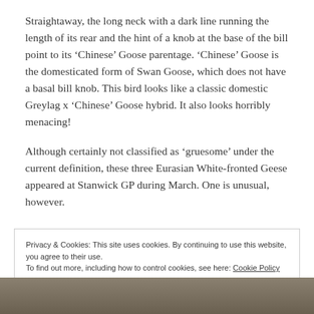Straightaway, the long neck with a dark line running the length of its rear and the hint of a knob at the base of the bill point to its ‘Chinese’ Goose parentage. ‘Chinese’ Goose is the domesticated form of Swan Goose, which does not have a basal bill knob. This bird looks like a classic domestic Greylag x ‘Chinese’ Goose hybrid. It also looks horribly menacing!
Although certainly not classified as ‘gruesome’ under the current definition, these three Eurasian White-fronted Geese appeared at Stanwick GP during March. One is unusual, however.
Privacy & Cookies: This site uses cookies. By continuing to use this website, you agree to their use.
To find out more, including how to control cookies, see here: Cookie Policy
Close and accept
[Figure (photo): Partial view of a photo at the bottom of the page showing birds in a field, visible as a strip at the bottom.]